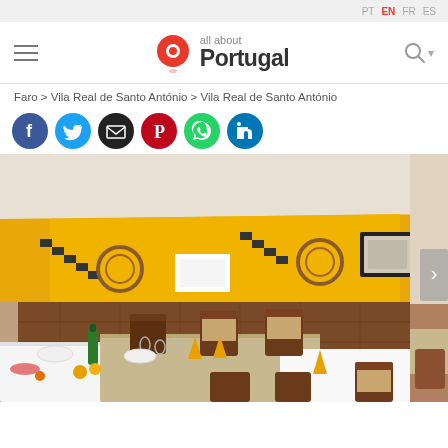PT EN FR ES — all about Portugal navigation header
Faro > Vila Real de Santo António > Vila Real de Santo António
[Figure (other): Social media sharing icons: Facebook (blue), Twitter (cyan), Email (black), Pinterest (red), WhatsApp (green), LinkedIn (blue)]
[Figure (photo): Interior of a Portuguese restaurant with yellow upper wall and brown tiled lower wall. Decorative wooden shelves, circular wooden barrel rings on the wall, a framed picture, and a wall lamp. Dining tables set with white tablecloths, dark wood chairs, orange folded napkins, plates, glasses, and a green wine bottle.]